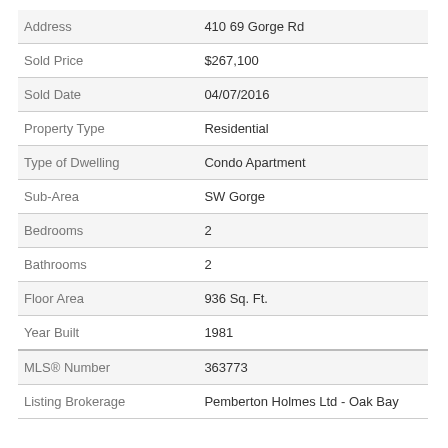| Field | Value |
| --- | --- |
| Address | 410 69 Gorge Rd |
| Sold Price | $267,100 |
| Sold Date | 04/07/2016 |
| Property Type | Residential |
| Type of Dwelling | Condo Apartment |
| Sub-Area | SW Gorge |
| Bedrooms | 2 |
| Bathrooms | 2 |
| Floor Area | 936 Sq. Ft. |
| Year Built | 1981 |
| MLS® Number | 363773 |
| Listing Brokerage | Pemberton Holmes Ltd - Oak Bay |